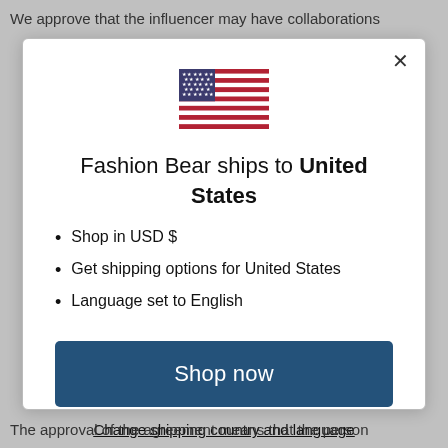We approve that the influencer may have collaborations
[Figure (illustration): US flag SVG illustration]
Fashion Bear ships to United States
Shop in USD $
Get shipping options for United States
Language set to English
Shop now
Change shipping country and language
The approval of the agreement means that the person